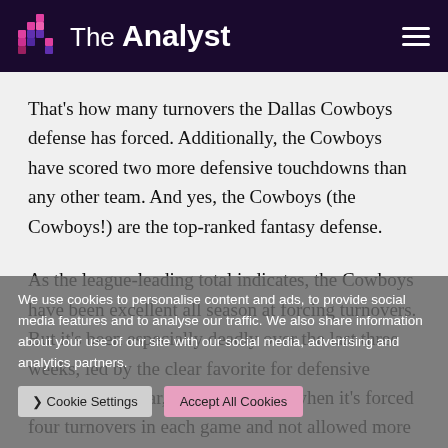The Analyst
That’s how many turnovers the Dallas Cowboys defense has forced. Additionally, the Cowboys have scored two more defensive touchdowns than any other team. And yes, the Cowboys (the Cowboys!) are the top-ranked fantasy defense.
As the league-leading total indicates, the Cowboys have been excellent all season at forcing turnovers. But it’s been especially deadly over the last three weeks, led by the clear favorite for defensive rookie of the year, Micah Parsons, when it’s forced four turnovers in each game and not allowed more than 17 points in a single game. This
We use cookies to personalise content and ads, to provide social media features and to analyse our traffic. We also share information about your use of our site with our social media, advertising and analytics partners.